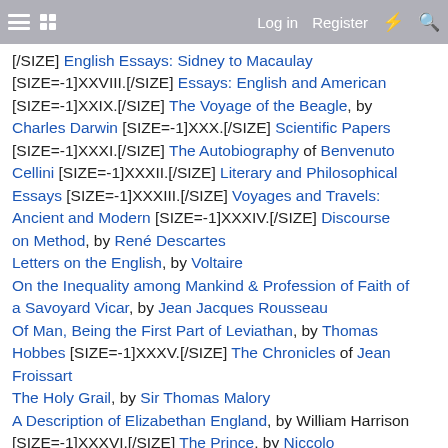Log in | Register
[/SIZE] English Essays: Sidney to Macaulay [SIZE=-1]XXVIII.[/SIZE] Essays: English and American [SIZE=-1]XXIX.[/SIZE] The Voyage of the Beagle, by Charles Darwin [SIZE=-1]XXX.[/SIZE] Scientific Papers [SIZE=-1]XXXI.[/SIZE] The Autobiography of Benvenuto Cellini [SIZE=-1]XXXII.[/SIZE] Literary and Philosophical Essays [SIZE=-1]XXXIII.[/SIZE] Voyages and Travels: Ancient and Modern [SIZE=-1]XXXIV.[/SIZE] Discourse on Method, by René Descartes
Letters on the English, by Voltaire
On the Inequality among Mankind & Profession of Faith of a Savoyard Vicar, by Jean Jacques Rousseau
Of Man, Being the First Part of Leviathan, by Thomas Hobbes [SIZE=-1]XXXV.[/SIZE] The Chronicles of Jean Froissart
The Holy Grail, by Sir Thomas Malory
A Description of Elizabethan England, by William Harrison [SIZE=-1]XXXVI.[/SIZE] The Prince, by Niccolo Machiavelli
The Life of Sir Thomas More, by William Roper